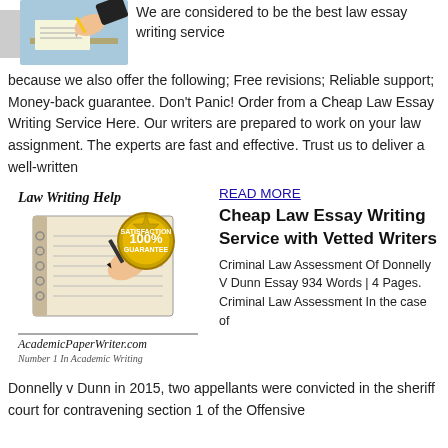[Figure (illustration): Illustration of a person writing at a desk with a pencil, set against a light blue background. A gray placeholder box is partially visible on the left.]
We are considered to be the best law essay writing service because we also offer the following; Free revisions; Reliable support; Money-back guarantee. Don't Panic! Order from a Cheap Law Essay Writing Service Here. Our writers are prepared to work on your law assignment. The experts are fast and effective. Trust us to deliver a well-written
[Figure (illustration): Law Writing Help illustration showing a hand writing in a notebook, with a 100% Satisfaction Guarantee gold badge, and the AcademicPaperWriter.com logo with tagline 'Number 1 In Academic Writing']
READ MORE
Cheap Law Essay Writing Service with Vetted Writers
Criminal Law Assessment Of Donnelly V Dunn Essay 934 Words | 4 Pages. Criminal Law Assessment In the case of Donnelly v Dunn in 2015, two appellants were convicted in the sheriff court for contravening section 1 of the Offensive Behaviour at Football and Threatening Communications Act